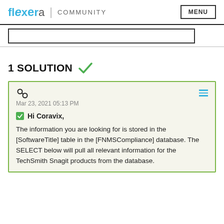Flexera | COMMUNITY   MENU
1 SOLUTION ✓
Mar 23, 2021 05:13 PM
Hi Coravix,
The information you are looking for is stored in the [SoftwareTitle] table in the [FNMSCompliance] database. The SELECT below will pull all relevant information for the TechSmith Snagit products from the database.